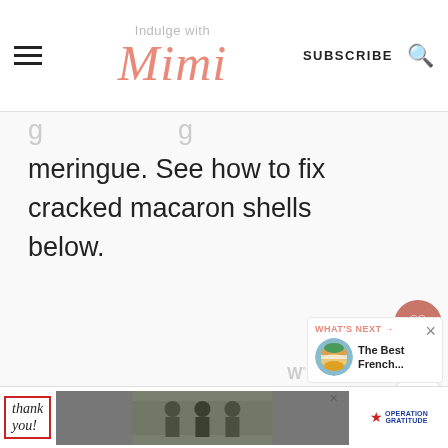Indulge with Mimi — SUBSCRIBE
meringue. See how to fix cracked macaron shells below.
[Figure (screenshot): Sidebar with heart/like button showing 162K count and share button]
[Figure (screenshot): What's Next panel showing The Best French... with macaron thumbnail]
[Figure (screenshot): Advertisement banner: Thank you, Operation Gratitude with military photo]